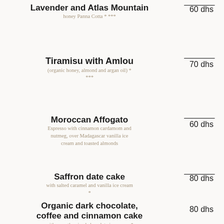Lavender and Atlas Mountain
honey Panna Cotta * ***
60 dhs
Tiramisu with Amlou
(organic honey, almond and argan oil) *
***
70 dhs
Moroccan Affogato
Espresso with cinnamon cardamom and nutmeg, over Madagascar vanilla ice cream and toasted almonds
60 dhs
Saffron date cake
with salted caramel and vanilla ice cream
*
80 dhs
Organic dark chocolate, coffee and cinnamon cake
with smooth spiced chocolate ice cream *
80 dhs